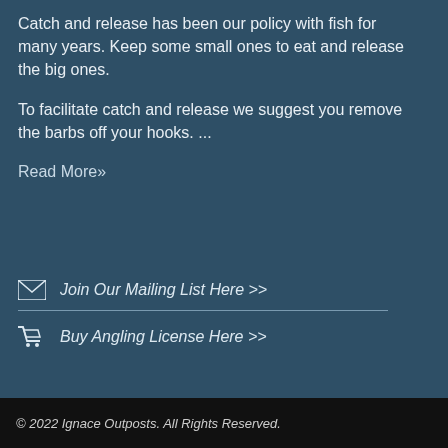Catch and release has been our policy with fish for many years. Keep some small ones to eat and release the big ones.

To facilitate catch and release we suggest you remove the barbs off your hooks. ...

Read More»
✉ Join Our Mailing List Here >>
🛒 Buy Angling License Here >>
© 2022 Ignace Outposts. All Rights Reserved.